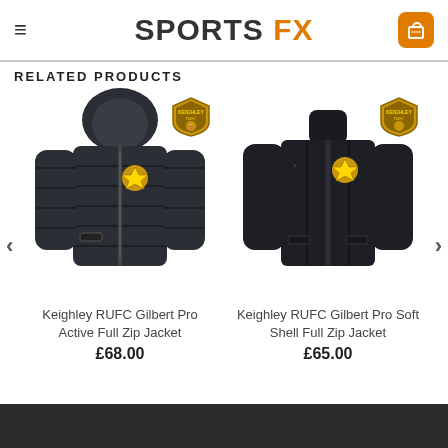SPORTS FX
RELATED PRODUCTS
[Figure (photo): Keighley RUFC Gilbert Pro Active Full Zip Jacket - dark quilted hooded jacket with gold club badge]
Keighley RUFC Gilbert Pro Active Full Zip Jacket
£68.00
[Figure (photo): Keighley RUFC Gilbert Pro Soft Shell Full Zip Jacket - dark soft shell jacket with high collar and gold club badge]
Keighley RUFC Gilbert Pro Soft Shell Full Zip Jacket
£65.00